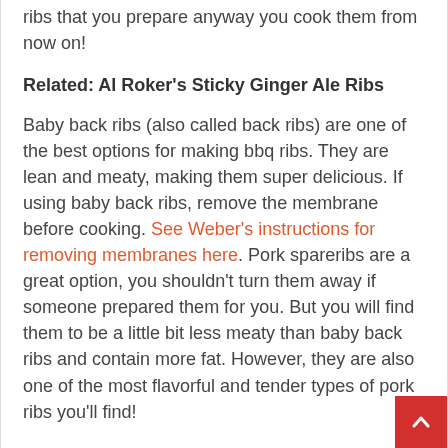ribs that you prepare anyway you cook them from now on!
Related: Al Roker's Sticky Ginger Ale Ribs
Baby back ribs (also called back ribs) are one of the best options for making bbq ribs. They are lean and meaty, making them super delicious. If using baby back ribs, remove the membrane before cooking. See Weber's instructions for removing membranes here. Pork spareribs are a great option, you shouldn't turn them away if someone prepared them for you. But you will find them to be a little bit less meaty than baby back ribs and contain more fat. However, they are also one of the most flavorful and tender types of pork ribs you'll find!